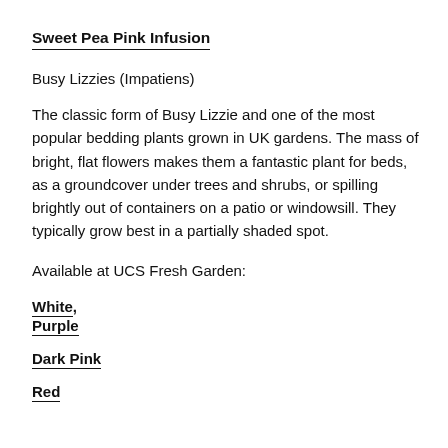Sweet Pea Pink Infusion
Busy Lizzies (Impatiens)
The classic form of Busy Lizzie and one of the most popular bedding plants grown in UK gardens. The mass of bright, flat flowers makes them a fantastic plant for beds, as a groundcover under trees and shrubs, or spilling brightly out of containers on a patio or windowsill. They typically grow best in a partially shaded spot.
Available at UCS Fresh Garden:
White,
Purple
Dark Pink
Red